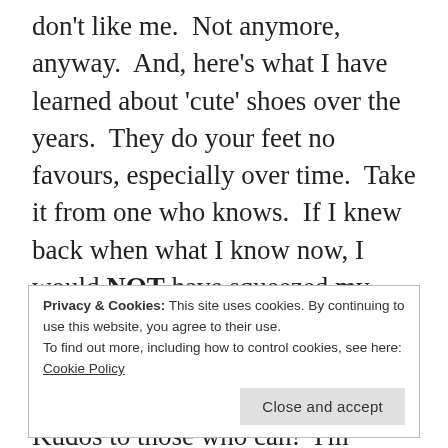don't like me.  Not anymore, anyway.  And, here's what I have learned about 'cute' shoes over the years.  They do your feet no favours, especially over time.  Take it from one who knows.  If I knew back when what I know now, I would NOT have squeezed my extra wide feet into the narrow, cheap shoes that I did, let alone sport heels of sorts all day long.  Kudos to those who can!  I'm paying for my choices from younger years in that my feet are always tired and sore by the day's end, no matter how much I spend and how 'comfortable' the
Privacy & Cookies: This site uses cookies. By continuing to use this website, you agree to their use.
To find out more, including how to control cookies, see here: Cookie Policy
[Close and accept]